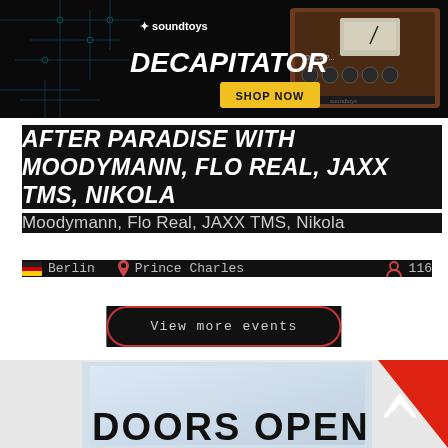[Figure (screenshot): Soundtoys Decapitator plugin advertisement banner with dark background, circuit board imagery, plugin UI screenshot on right, yellow 'SHOP NOW' button]
AFTER PARADISE with Moodymann, Flo Real, Jaxx TMS, Nikola
Moodymann, Flo Real, JAXX TMS, Nikola
Berlin  Prince Charles  116
View more events
[Figure (screenshot): Bottom section showing light grey and blue background with red RA (Resident Advisor) logo corner triangle and partial bold text 'DOORS OPEN' cut off]